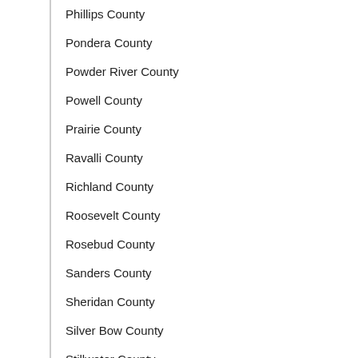Phillips County
Pondera County
Powder River County
Powell County
Prairie County
Ravalli County
Richland County
Roosevelt County
Rosebud County
Sanders County
Sheridan County
Silver Bow County
Stillwater County
Sweet Grass County
Teton County
Toole County
Treasure County
Valley County
Wheatland County